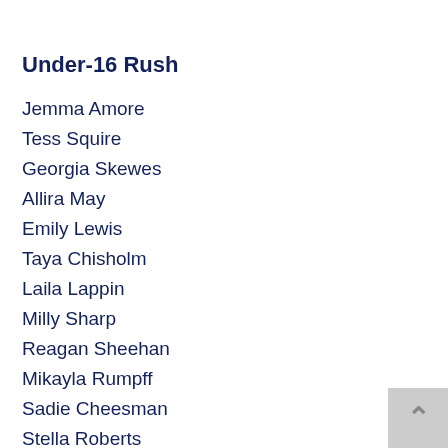Under-16 Rush
Jemma Amore
Tess Squire
Georgia Skewes
Allira May
Emily Lewis
Taya Chisholm
Laila Lappin
Milly Sharp
Reagan Sheehan
Mikayla Rumpff
Sadie Cheesman
Stella Roberts
Tameeka Lewis
Ameli Price